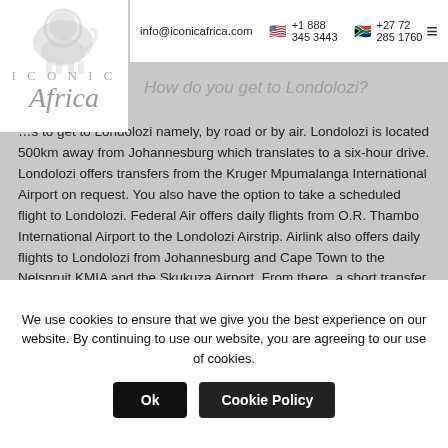[Figure (logo): Iconic Africa logo with lion silhouette and stylized text]
info@iconicafrica.com   +1 888 345 3443   +27 72 285 1760
How do you get to Londolozi?
...ways to get to Londolozi namely, by road or by air. Londolozi is located 500km away from Johannesburg which translates to a six-hour drive. Londolozi offers transfers from the Kruger Mpumalanga International Airport on request. You also have the option to take a scheduled flight to Londolozi. Federal Air offers daily flights from O.R. Thambo International Airport to the Londolozi Airstrip. Airlink also offers daily flights to Londolozi from Johannesburg and Cape Town to the Nelspruit KMIA and the Skukuza Airport. From there, a short transfer in a small aircraft will take you through
We use cookies to ensure that we give you the best experience on our website. By continuing to use our website, you are agreeing to our use of cookies.